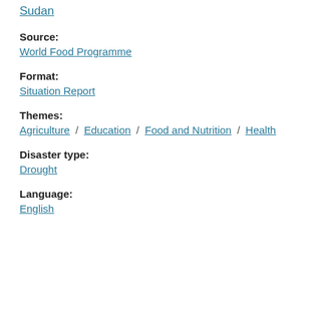Sudan
Source:
World Food Programme
Format:
Situation Report
Themes:
Agriculture / Education / Food and Nutrition / Health
Disaster type:
Drought
Language:
English